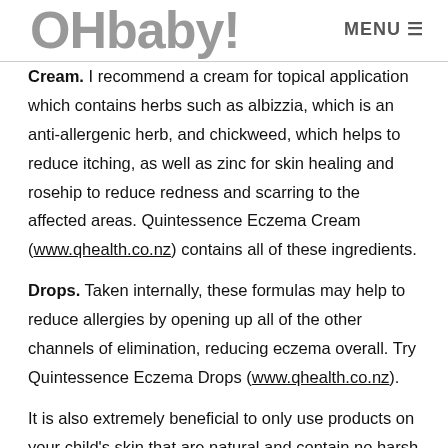OHbaby! MENU
Cream. I recommend a cream for topical application which contains herbs such as albizzia, which is an anti-allergenic herb, and chickweed, which helps to reduce itching, as well as zinc for skin healing and rosehip to reduce redness and scarring to the affected areas. Quintessence Eczema Cream (www.qhealth.co.nz) contains all of these ingredients.
Drops. Taken internally, these formulas may help to reduce allergies by opening up all of the other channels of elimination, reducing eczema overall. Try Quintessence Eczema Drops (www.qhealth.co.nz).
It is also extremely beneficial to only use products on your child's skin that are natural and contain no harsh detergents, no petrochemicals, no artificial fragrances and no parabens. Natural products (such as those in the Made4Baby range